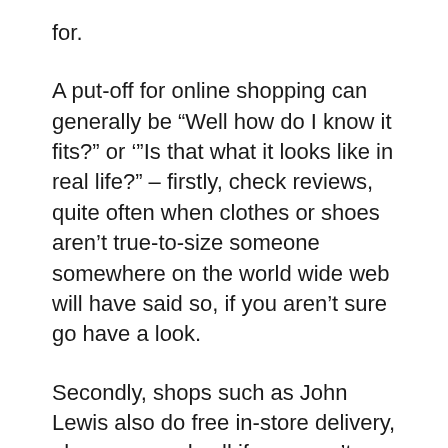for.
A put-off for online shopping can generally be “Well how do I know it fits?” or ‘”Is that what it looks like in real life?” – firstly, check reviews, quite often when clothes or shoes aren’t true-to-size someone somewhere on the world wide web will have said so, if you aren’t sure go have a look.
Secondly, shops such as John Lewis also do free in-store delivery, always a good call if you aren’t sure but have seen a bargain that you couldn’t resist! It doesn’t cost you anymore and you can try it on as soon as you go and pick it up (and if necessary, returns are dead easy because you’re already in the shop!).